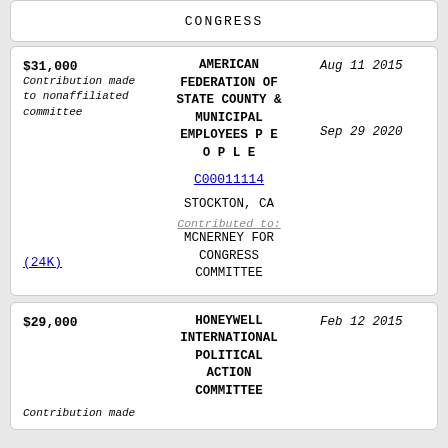CONGRESS
| Amount | Organization | Date |
| --- | --- | --- |
| $31,000 | AMERICAN FEDERATION OF STATE COUNTY & MUNICIPAL EMPLOYEES P E O P L E | Aug 11 2015 |
|  | C00011114 |  |
|  | STOCKTON, CA | Sep 29 2020 |
| (24K) | Contributed to: MCNERNEY FOR CONGRESS COMMITTEE |  |
| Contribution made to nonaffiliated committee |  |  |
| Amount | Organization | Date |
| --- | --- | --- |
| $29,000 | HONEYWELL INTERNATIONAL POLITICAL ACTION COMMITTEE | Feb 12 2015 |
| Contribution made |  |  |